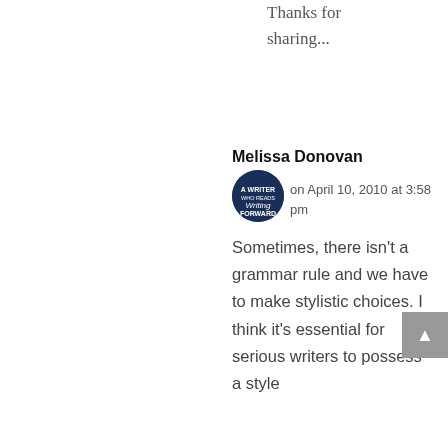Thanks for sharing...
Melissa Donovan
on April 10, 2010 at 3:58 pm
Sometimes, there isn't a grammar rule and we have to make stylistic choices. I think it's essential for serious writers to possess a style